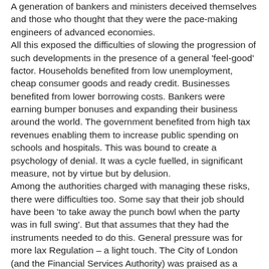A generation of bankers and ministers deceived themselves and those who thought that they were the pace-making engineers of advanced economies. All this exposed the difficulties of slowing the progression of such developments in the presence of a general 'feel-good' factor. Households benefited from low unemployment, cheap consumer goods and ready credit. Businesses benefited from lower borrowing costs. Bankers were earning bumper bonuses and expanding their business around the world. The government benefited from high tax revenues enabling them to increase public spending on schools and hospitals. This was bound to create a psychology of denial. It was a cycle fuelled, in significant measure, not by virtue but by delusion. Among the authorities charged with managing these risks, there were difficulties too. Some say that their job should have been 'to take away the punch bowl when the party was in full swing'. But that assumes that they had the instruments needed to do this. General pressure was for more lax Regulation – a light touch. The City of London (and the Financial Services Authority) was praised as a paragon of global financial regulation for this reason. There was a broad consensus that it was better to deal with